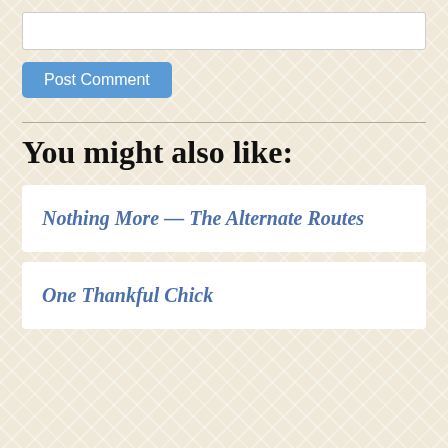[Figure (screenshot): Text input box (empty)]
Post Comment
You might also like:
Nothing More — The Alternate Routes
One Thankful Chick